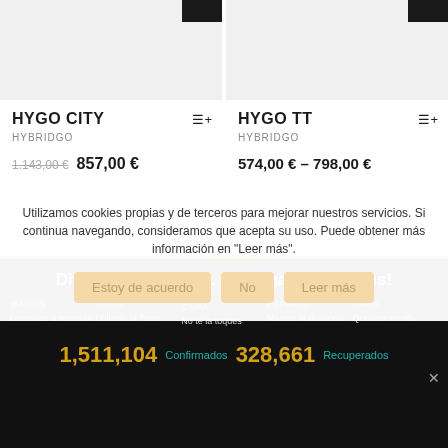[Figure (screenshot): Product card image placeholder for HYGO CITY, light gray background with dark badge top right]
HYGO CITY
HYBRIDGO
1.143,00 € 857,00 €
[Figure (screenshot): Product card image placeholder for HYGO TT, light gray background with dark badge top right]
HYGO TT
HYBRIDGO
574,00 € – 798,00 €
Utilizamos cookies propias y de terceros para mejorar nuestros servicios. Si continua navegando, consideramos que acepta su uso. Puede obtener más información en "Leer más".
Estoy de acuerdo | No | Leer más
Difunde el mensaje. Detengamos el virus!
MANOS
Lavatelas a menudo
CODO
Utilizalo al Toser
CARA*
No te la toques
ESPACIO
Manten la distancia
CASA
Quedate en ella
1,511,104 Confirmados 328,661 Recuperados